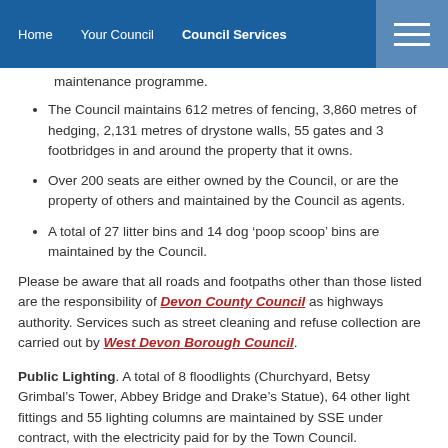Home   Your Council   Council Services
maintenance programme.
The Council maintains 612 metres of fencing, 3,860 metres of hedging, 2,131 metres of drystone walls, 55 gates and 3 footbridges in and around the property that it owns.
Over 200 seats are either owned by the Council, or are the property of others and maintained by the Council as agents.
A total of 27 litter bins and 14 dog 'poop scoop' bins are maintained by the Council.
Please be aware that all roads and footpaths other than those listed are the responsibility of Devon County Council as highways authority. Services such as street cleaning and refuse collection are carried out by West Devon Borough Council.
Public Lighting. A total of 8 floodlights (Churchyard, Betsy Grimbal's Tower, Abbey Bridge and Drake's Statue), 64 other light fittings and 55 lighting columns are maintained by SSE under contract, with the electricity paid for by the Town Council.
Bus Shelters. A total of 9 bus shelters are owned and maintained